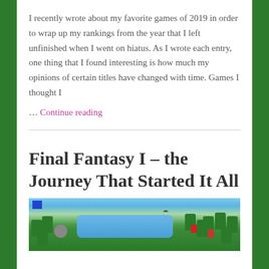I recently wrote about my favorite games of 2019 in order to wrap up my rankings from the year that I left unfinished when I went on hiatus. As I wrote each entry, one thing that I found interesting is how much my opinions of certain titles have changed with time. Games I thought I … Continue reading
Final Fantasy I – the Journey That Started It All
[Figure (screenshot): Pixel art screenshot from Final Fantasy I showing an overworld scene with a river, trees, and character sprites on a grassy landscape.]